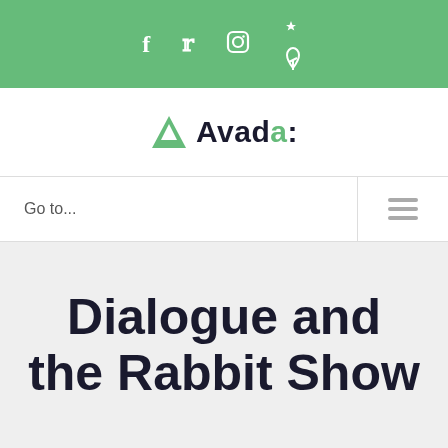Social icons: f, twitter, instagram, pinterest
[Figure (logo): Avada logo with green triangle and stylized text 'Avada:' in black with green 'a']
Go to...
Dialogue and the Rabbit Show